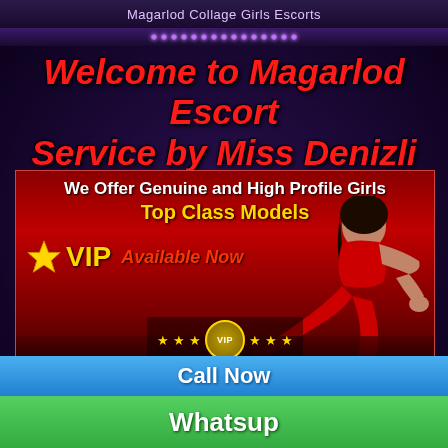Magarlod Collage Girls Escorts
Welcome to Magarlod Escort Service by Miss Denizli
[Figure (infographic): Promotional banner with woman in red dress lying down, text: We Offer Genuine and High Profile Girls, Top Class Models, VIP Available Now, star and VIP badge graphic, bottom VIP stars decoration]
Magarlod Escort - Magarlod is the capital of India's Chhattisgarh state. It brings out the imperial family that once decided the locale and that, in 1727, established what is presently called the Old City, or
Call Now
Whatsup